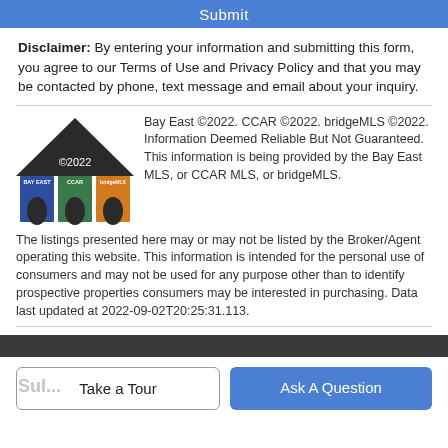Submit
Disclaimer: By entering your information and submitting this form, you agree to our Terms of Use and Privacy Policy and that you may be contacted by phone, text message and email about your inquiry.
[Figure (logo): Bay East, CCAR, bridgeMLS combined logo showing a house with three colored pillars (blue, green, orange) and '©2022' text]
Bay East ©2022. CCAR ©2022. bridgeMLS ©2022. Information Deemed Reliable But Not Guaranteed. This information is being provided by the Bay East MLS, or CCAR MLS, or bridgeMLS. The listings presented here may or may not be listed by the Broker/Agent operating this website. This information is intended for the personal use of consumers and may not be used for any purpose other than to identify prospective properties consumers may be interested in purchasing. Data last updated at 2022-09-02T20:25:31.113.
Take a Tour
Ask A Question